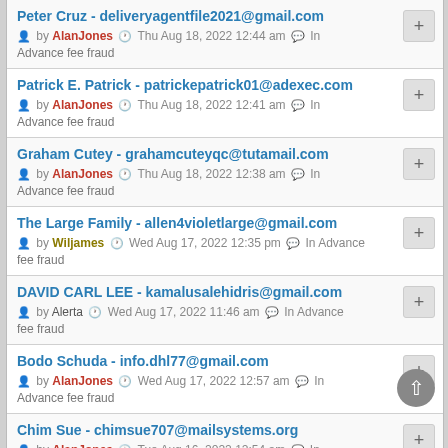Peter Cruz - deliveryagentfile2021@gmail.com by AlanJones Thu Aug 18, 2022 12:44 am In Advance fee fraud
Patrick E. Patrick - patrickepatrick01@adexec.com by AlanJones Thu Aug 18, 2022 12:41 am In Advance fee fraud
Graham Cutey - grahamcuteyqc@tutamail.com by AlanJones Thu Aug 18, 2022 12:38 am In Advance fee fraud
The Large Family - allen4violetlarge@gmail.com by Wiljames Wed Aug 17, 2022 12:35 pm In Advance fee fraud
DAVID CARL LEE - kamalusalehidris@gmail.com by Alerta Wed Aug 17, 2022 11:46 am In Advance fee fraud
Bodo Schuda - info.dhl77@gmail.com by AlanJones Wed Aug 17, 2022 12:57 am In Advance fee fraud
Chim Sue - chimsue707@mailsystems.org by AlanJones Tue Aug 16, 2022 12:54 am In